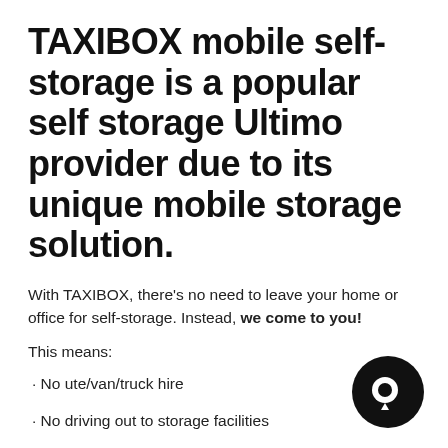TAXIBOX mobile self-storage is a popular self storage Ultimo provider due to its unique mobile storage solution.
With TAXIBOX, there’s no need to leave your home or office for self-storage. Instead, we come to you!
This means:
· No ute/van/truck hire
· No driving out to storage facilities
· No unloading at storage facilities
[Figure (logo): TAXIBOX black circular logo with a speech bubble / location pin icon inside]